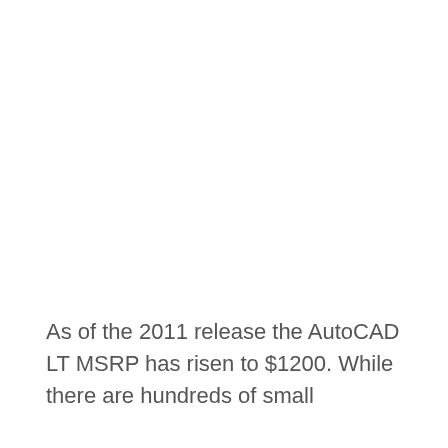As of the 2011 release the AutoCAD LT MSRP has risen to $1200. While there are hundreds of small